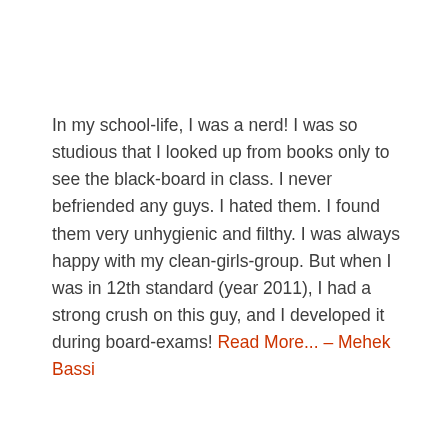In my school-life, I was a nerd! I was so studious that I looked up from books only to see the black-board in class. I never befriended any guys. I hated them. I found them very unhygienic and filthy. I was always happy with my clean-girls-group. But when I was in 12th standard (year 2011), I had a strong crush on this guy, and I developed it during board-exams! Read More... – Mehek Bassi